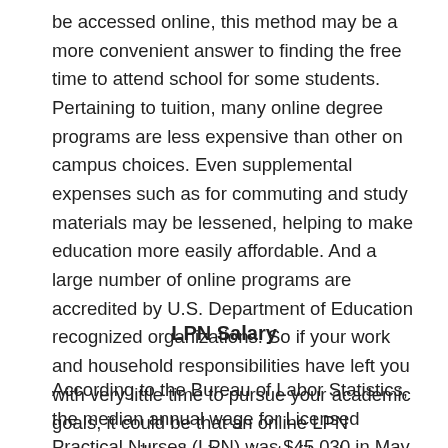be accessed online, this method may be a more convenient answer to finding the free time to attend school for some students. Pertaining to tuition, many online degree programs are less expensive than other on campus choices. Even supplemental expenses such as for commuting and study materials may be lessened, helping to make education more easily affordable. And a large number of online programs are accredited by U.S. Department of Education recognized organizations. So if your work and household responsibilities have left you with very little time to pursue your academic goals, it could be that an online LPN program will make it easier to fit a degree into your hectic schedule.
LPN Salary
According to the Bureau of Labor Statistics, the median annual wage for Licensed Practical Nurses (LPN) was $45,030 in May 2017. The median wage is the wage at which half the workers in an occupation earned more than that amount and half earned less.